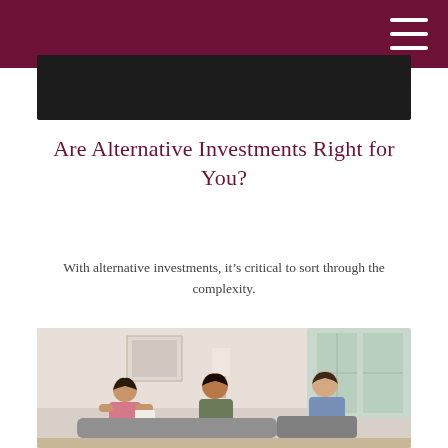Are Alternative Investments Right for You?
With alternative investments, it's critical to sort through the complexity.
[Figure (photo): Two clients (a woman and a man) seated on a sofa meeting with a financial advisor across from them in a bright office setting]